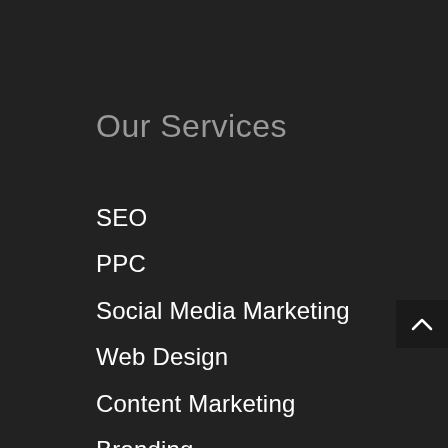Our Services
SEO
PPC
Social Media Marketing
Web Design
Content Marketing
Branding
Site Map